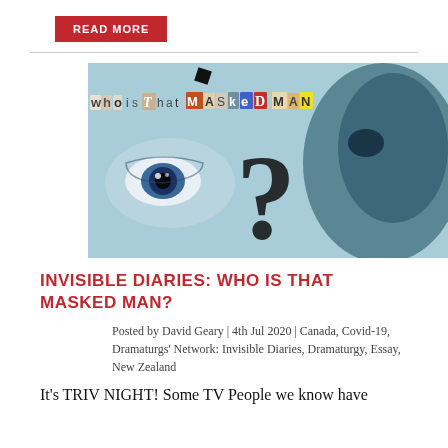READ MORE
[Figure (photo): A masked face with a large question mark in the center, one blue eye visible on the left, dark rounded mask on the right, collage-style text at the top reading 'who is that masked man' in cut-out letters on a light blue background.]
INVISIBLE DIARIES: WHO IS THAT MASKED MAN?
Posted by David Geary | 4th Jul 2020 | Canada, Covid-19, Dramaturgs' Network: Invisible Diaries, Dramaturgy, Essay, New Zealand
It's TRIV NIGHT! Some TV People we know have